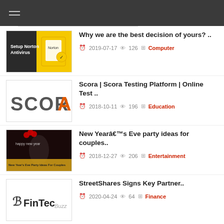☰ (hamburger menu)
[Figure (screenshot): Norton Antivirus setup product box on yellow background]
Why we are the best decision of yours? ..
2019-07-17  126  Computer
[Figure (logo): SCORA logo with orange letter A]
Scora | Scora Testing Platform | Online Test ..
2018-10-11  196  Education
[Figure (photo): New Year's Eve fireworks party image with text overlay]
New Yearâs Eve party ideas for couples..
2018-12-27  206  Entertainment
[Figure (logo): FinTec Buzz logo]
StreetShares Signs Key Partner..
2020-04-24  64  Finance
[Figure (photo): Partial thumbnail visible at bottom of page]